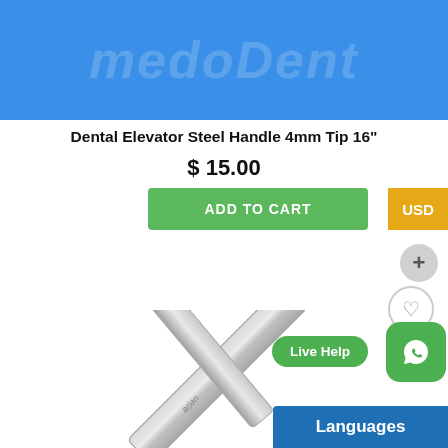[Figure (screenshot): Blue banner header with watermark text in background]
Dental Elevator Steel Handle 4mm Tip 16"
$ 15.00
ADD TO CART
USD
[Figure (photo): Dental elevator steel handle tool photographed diagonally]
Live Help
Languages